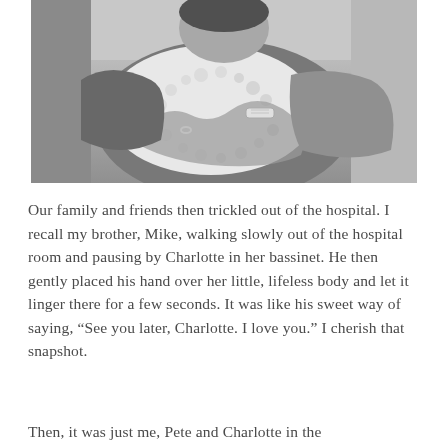[Figure (photo): Black and white photograph of a person holding a newborn baby wrapped in a white crocheted blanket. The person is wearing a hospital identification wristband and a ring. The baby is cradled close to the person's chest and face.]
Our family and friends then trickled out of the hospital. I recall my brother, Mike, walking slowly out of the hospital room and pausing by Charlotte in her bassinet. He then gently placed his hand over her little, lifeless body and let it linger there for a few seconds. It was like his sweet way of saying, “See you later, Charlotte. I love you.” I cherish that snapshot.
Then, it was just me, Pete and Charlotte in the